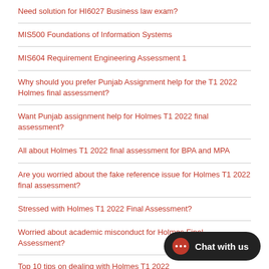Need solution for HI6027 Business law exam?
MIS500 Foundations of Information Systems
MIS604 Requirement Engineering Assessment 1
Why should you prefer Punjab Assignment help for the T1 2022 Holmes final assessment?
Want Punjab assignment help for Holmes T1 2022 final assessment?
All about Holmes T1 2022 final assessment for BPA and MPA
Are you worried about the fake reference issue for Holmes T1 2022 final assessment?
Stressed with Holmes T1 2022 Final Assessment?
Worried about academic misconduct for Holmes Final Assessment?
Top 10 tips on dealing with Holmes T1 2022…
How to avoid academic misconduct in Holmes T1 2022 final assessment?